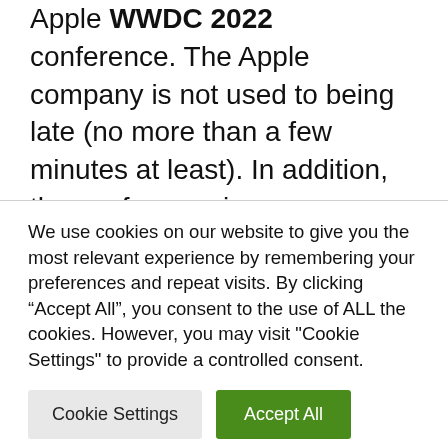Apple WWDC 2022 conference. The Apple company is not used to being late (no more than a few minutes at least). In addition, the conference is pre-recorded, so the keynote starts smoothly beforehand.
The invitation to WWDC 2022 had already slipped into some potential tracks. Still a few hours before knowing what Tim Cook and his family have in store for developers and the
We use cookies on our website to give you the most relevant experience by remembering your preferences and repeat visits. By clicking “Accept All”, you consent to the use of ALL the cookies. However, you may visit "Cookie Settings" to provide a controlled consent.